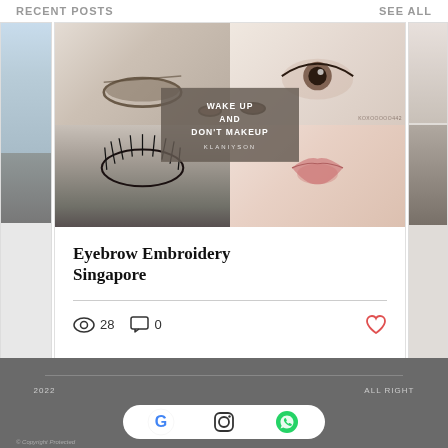Recent Posts    See All
[Figure (photo): Beauty/cosmetic blog post card showing close-up photos of eyes, eyebrows, and lips arranged in a 2x2 grid, with an overlay box reading 'WAKE UP AND DON'T MAKEUP' and brand name 'KLANIYSON']
Eyebrow Embroidery Singapore
28  0
[Figure (infographic): Carousel dot navigation with one active red dot and two inactive gray dots]
2022  |  ALL RIGHT
[Figure (logo): Social media icons row: Google G logo, Instagram logo, WhatsApp logo in a white pill-shaped container]
© Copyright Protected